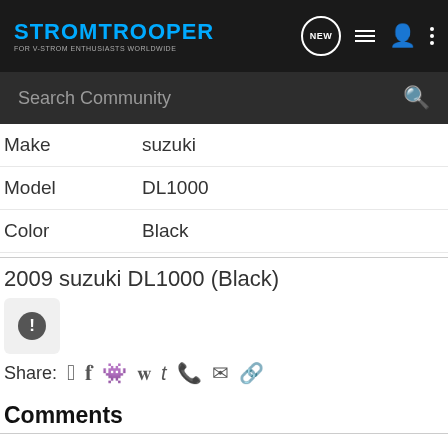STROMTROOPER — FOR V-STROM ENTHUSIASTS WORLDWIDE
Make: suzuki
Model: DL1000
Color: Black
2009 suzuki DL1000 (Black)
Share:
Comments
There are no comments to display.